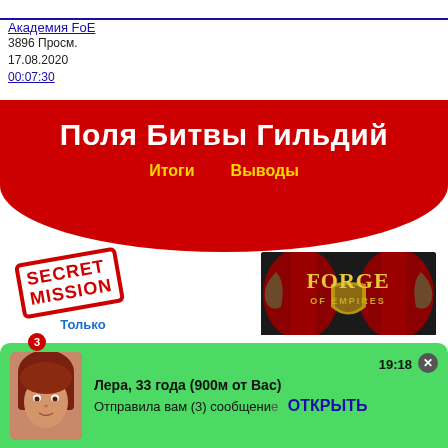Академия FoE
3896 Просм.
17.08.2020
00:07:30
[Figure (screenshot): YouTube video thumbnail for 'Поля Битвы Гильдий — Итоги Выводы' from Академия FoE channel. Red banner with white bold Cyrillic text 'Поля Битвы Гильдий' and yellow text 'Итоги Выводы'. Left: SECRET MISSION stamp in red, blue text 'Только Переговоры'. Right: Forge of Empires game logo on dark background.]
[Figure (screenshot): Mobile dating app notification at bottom: green banner with avatar of red-haired woman. Text: 'Лера, 33 года (900м от Вас)' and 'Отправила вам (3) сообщение'. Blue button 'ОТКРЫТЬ'. Time 19:18. Red badge '3'. Close X button.]